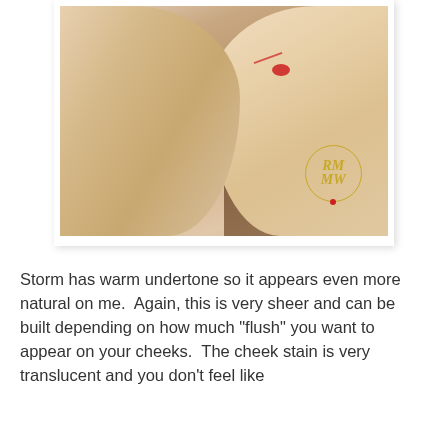[Figure (photo): A woman touching her cheek with her hand, showing a red mark/blemish on her cheek. She has long brown hair. There is a circular gold watermark/logo overlay in the lower right of the image.]
Storm has warm undertone so it appears even more natural on me.  Again, this is very sheer and can be built depending on how much "flush" you want to appear on your cheeks.  The cheek stain is very translucent and you don't feel like